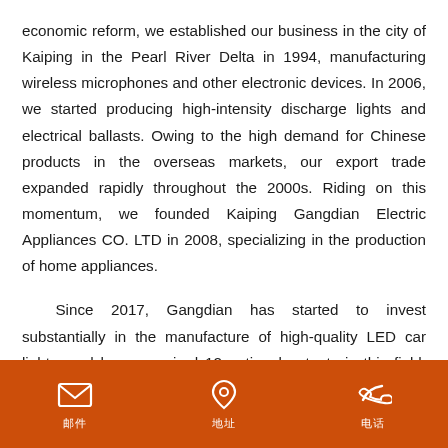economic reform, we established our business in the city of Kaiping in the Pearl River Delta in 1994, manufacturing wireless microphones and other electronic devices. In 2006, we started producing high-intensity discharge lights and electrical ballasts. Owing to the high demand for Chinese products in the overseas markets, our export trade expanded rapidly throughout the 2000s. Riding on this momentum, we founded Kaiping Gangdian Electric Appliances CO. LTD in 2008, specializing in the production of home appliances.
Since 2017, Gangdian has started to invest substantially in the manufacture of high-quality LED car lights, and have acquired 12 national patents in this field. Targeting at the
邮件  地址  电话